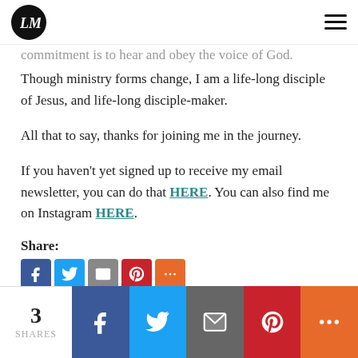LM logo and navigation menu
commitment is to hear and obey the voice of God. Though ministry forms change, I am a life-long disciple of Jesus, and life-long disciple-maker.
All that to say, thanks for joining me in the journey.
If you haven't yet signed up to receive my email newsletter, you can do that HERE. You can also find me on Instagram HERE.
Share:
[Figure (infographic): Social share buttons: Facebook, Twitter, Email, Pinterest, More]
4 Comments
3 SHARES — Facebook, Twitter, Email, Pinterest, More share buttons